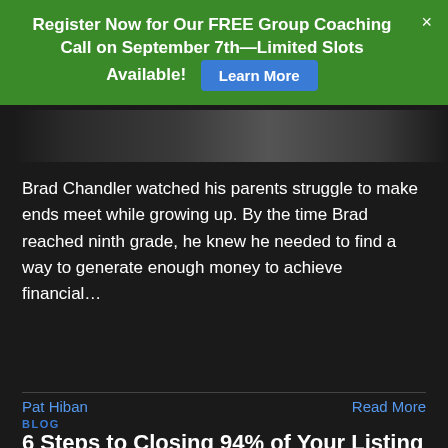Register Now for Our FREE Group Coaching Call on September 7th—Limited Slots Available! Learn More
[Figure (photo): Partial image strip of a person, dark background]
Brad Chandler watched his parents struggle to make ends meet while growing up. By the time Brad reached ninth grade, he knew he needed to find a way to generate enough money to achieve financial…
Pat Hiban   Read More
BLOG
6 Steps to Closing 94% of Your Listing